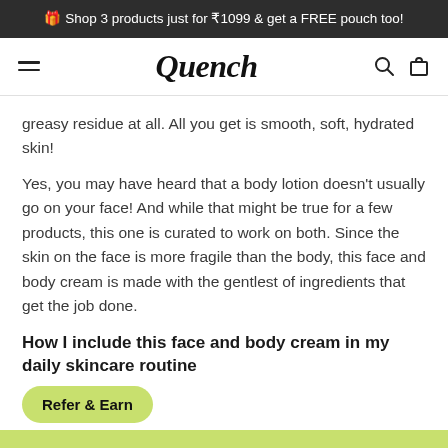🎁 Shop 3 products just for ₹1099 & get a FREE pouch too!
Quench
greasy residue at all. All you get is smooth, soft, hydrated skin!
Yes, you may have heard that a body lotion doesn't usually go on your face! And while that might be true for a few products, this one is curated to work on both. Since the skin on the face is more fragile than the body, this face and body cream is made with the gentlest of ingredients that get the job done.
How I include this face and body cream in my daily skincare routine
Refer & Earn